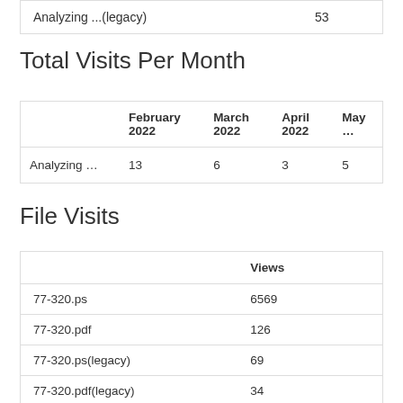|  |  |
| --- | --- |
| Analyzing ...(legacy) | 53 |
Total Visits Per Month
|  | February 2022 | March 2022 | April 2022 | May … |
| --- | --- | --- | --- | --- |
| Analyzing … | 13 | 6 | 3 | 5 |
File Visits
|  | Views |
| --- | --- |
| 77-320.ps | 6569 |
| 77-320.pdf | 126 |
| 77-320.ps(legacy) | 69 |
| 77-320.pdf(legacy) | 34 |